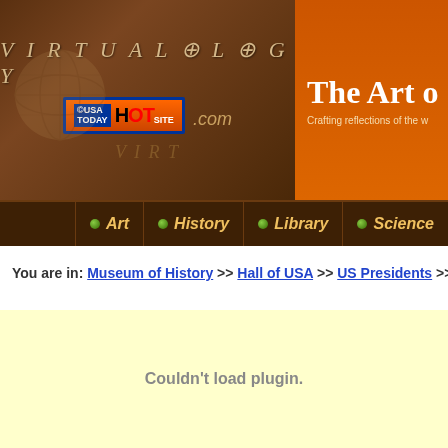[Figure (screenshot): Virtualology.com banner with USA Today Hot Site badge and globe graphic]
[Figure (screenshot): The Art of... orange banner with subtitle 'Crafting reflections of the w...']
| Art | History | Library | Science
You are in: Museum of History >> Hall of USA >> US Presidents >> Be...
[Figure (screenshot): Content area with light yellow background showing 'Couldn't load plugin.' message]